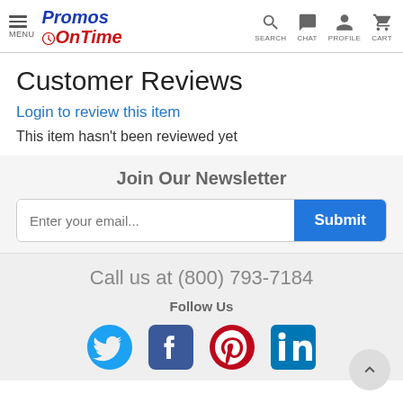MENU | Promos OnTime | SEARCH CHAT PROFILE CART
Customer Reviews
Login to review this item
This item hasn't been reviewed yet
Join Our Newsletter
Enter your email... Submit
Call us at (800) 793-7184
Follow Us
[Figure (infographic): Social media icons: Twitter (blue bird), Facebook (blue F), Pinterest (red P), LinkedIn (blue in)]